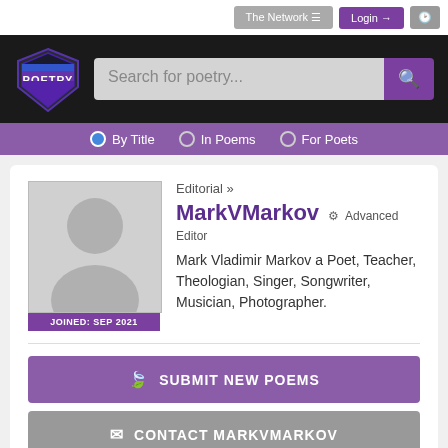The Network ≡   Login →   🕐
[Figure (logo): Poetry website logo - shield shape with POETRY text in white/purple/blue]
Search for poetry...
● By Title  ○ In Poems  ○ For Poets
Editorial »
MarkVMarkov ⚙ Advanced Editor
JOINED: SEP 2021
Mark Vladimir Markov a Poet, Teacher, Theologian, Singer, Songwriter, Musician, Photographer.
🍃 SUBMIT NEW POEMS
✉ CONTACT MARKVMARKOV
≡ MARKVMARKOV COLLECTION